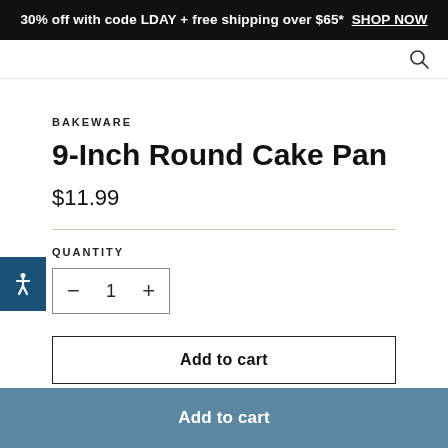30% off with code LDAY + free shipping over $65* SHOP NOW
BAKEWARE
9-Inch Round Cake Pan
$11.99
QUANTITY
− 1 +
Add to cart
Add to cart